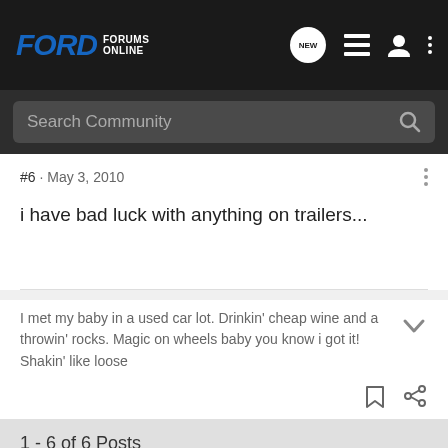FORD FORUMS ONLINE
Search Community
#6 · May 3, 2010
i have bad luck with anything on trailers...
I met my baby in a used car lot. Drinkin' cheap wine and a throwin' rocks. Magic on wheels baby you know i got it! Shakin' like loose
1 - 6 of 6 Posts
This is an older thread, you may not receive a response, and could be